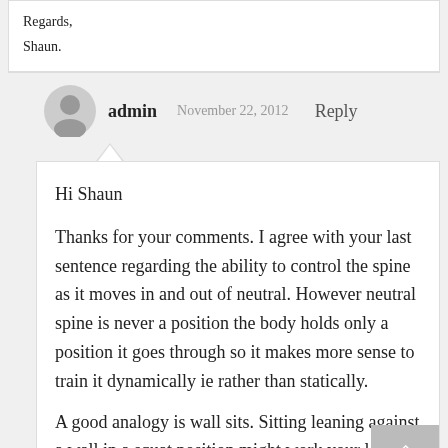Regards,
Shaun.
admin   November 22, 2012   Reply
Hi Shaun
Thanks for your comments. I agree with your last sentence regarding the ability to control the spine as it moves in and out of neutral. However neutral spine is never a position the body holds only a position it goes through so it makes more sense to train it dynamically ie rather than statically.
A good analogy is wall sits. Sitting leaning against a wall in a squat position might work your legs but